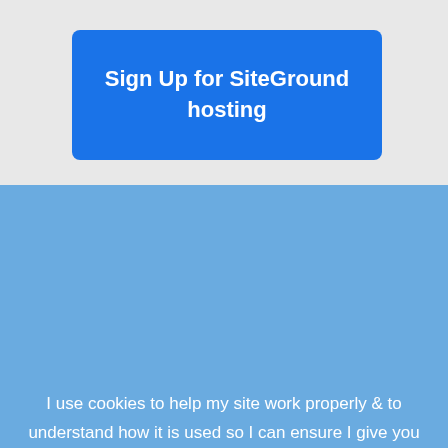[Figure (screenshot): Blue button with white bold text reading 'Sign Up for SiteGround hosting' on a light gray background]
I use cookies to help my site work properly & to understand how it is used so I can ensure I give you the best experience I can. By clicking "OKAY", you agree to me doing so.
OKAY
PRIVACY POLICY & COOKIES